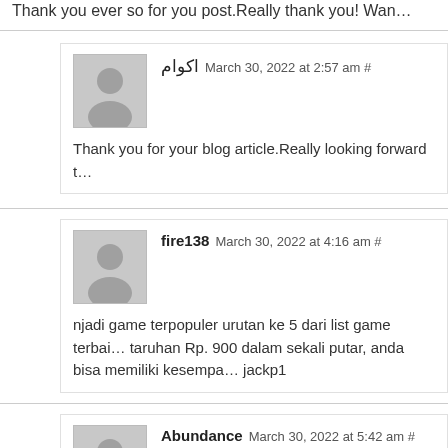Thank you ever so for you post.Really thank you! Wan…
اکوام March 30, 2022 at 2:57 am #
Thank you for your blog article.Really looking forward t…
fire138 March 30, 2022 at 4:16 am #
njadi game terpopuler urutan ke 5 dari list game terbai… taruhan Rp. 900 dalam sekali putar, anda bisa memiliki kesempa… jackp1
Abundance March 30, 2022 at 5:42 am #
Appreciate you sharing, great blog.Really thank you! R…